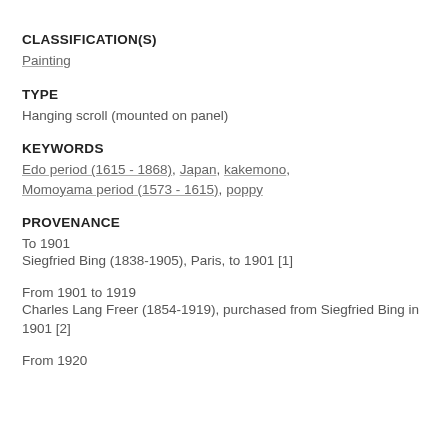CLASSIFICATION(S)
Painting
TYPE
Hanging scroll (mounted on panel)
KEYWORDS
Edo period (1615 - 1868), Japan, kakemono, Momoyama period (1573 - 1615), poppy
PROVENANCE
To 1901
Siegfried Bing (1838-1905), Paris, to 1901 [1]
From 1901 to 1919
Charles Lang Freer (1854-1919), purchased from Siegfried Bing in 1901 [2]
From 1920